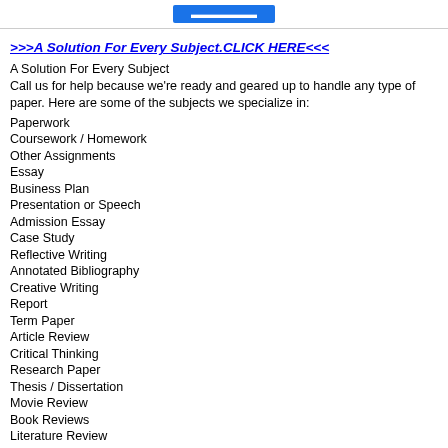[Figure (other): Blue button at top center of page]
>>>A Solution For Every Subject.CLICK HERE<<<
A Solution For Every Subject
Call us for help because we're ready and geared up to handle any type of paper. Here are some of the subjects we specialize in:
Paperwork
Coursework / Homework
Other Assignments
Essay
Business Plan
Presentation or Speech
Admission Essay
Case Study
Reflective Writing
Annotated Bibliography
Creative Writing
Report
Term Paper
Article Review
Critical Thinking
Research Paper
Thesis / Dissertation
Movie Review
Book Reviews
Literature Review
Research Proposal
Proofreading
Homework Assignment